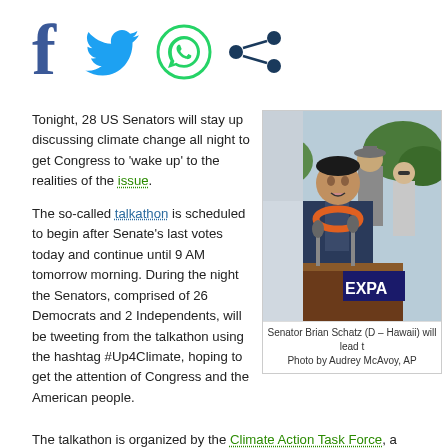[Figure (other): Social media sharing icons: Facebook (dark blue f), Twitter (blue bird), WhatsApp (green phone), Share (dark blue dots)]
Tonight, 28 US Senators will stay up discussing climate change all night to get Congress to 'wake up' to the realities of the issue.
[Figure (photo): Senator Brian Schatz (D – Hawaii) speaking at a podium with an orange lei, with people behind him and a sign reading EXPAN. Photo by Audrey McAvoy, AP]
Senator Brian Schatz (D – Hawaii) will lead t… Photo by Audrey McAvoy, AP
The so-called talkathon is scheduled to begin after Senate's last votes today and continue until 9 AM tomorrow morning. During the night the Senators, comprised of 26 Democrats and 2 Independents, will be tweeting from the talkathon using the hashtag #Up4Climate, hoping to get the attention of Congress and the American people.
The talkathon is organized by the Climate Action Task Force, a group launche…